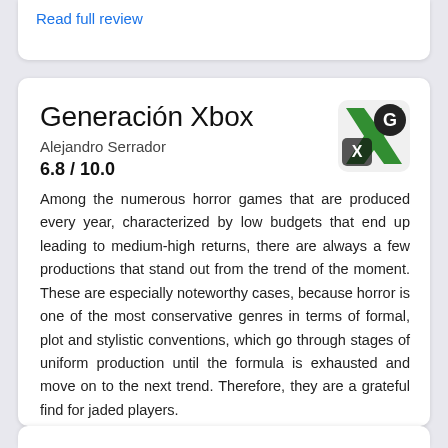Read full review
Generación Xbox
Alejandro Serrador
6.8 / 10.0
Among the numerous horror games that are produced every year, characterized by low budgets that end up leading to medium-high returns, there are always a few productions that stand out from the trend of the moment. These are especially noteworthy cases, because horror is one of the most conservative genres in terms of formal, plot and stylistic conventions, which go through stages of uniform production until the formula is exhausted and move on to the next trend. Therefore, they are a grateful find for jaded players. Review in Spanish | Read full review